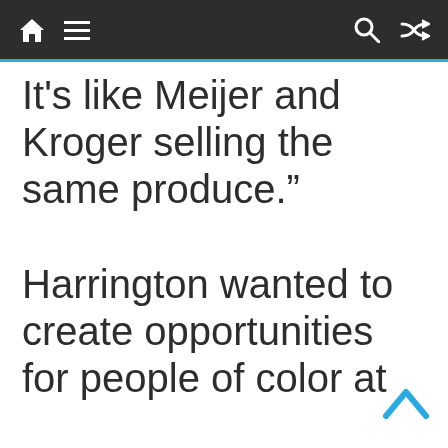Navigation bar with home, menu, search, and shuffle icons
It’s like Meijer and Kroger selling the same produce.” Harrington wanted to create opportunities for people of color at